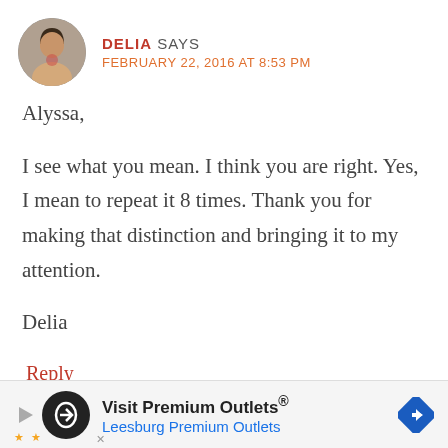DELIA SAYS — FEBRUARY 22, 2016 AT 8:53 PM
Alyssa,
I see what you mean. I think you are right. Yes, I mean to repeat it 8 times. Thank you for making that distinction and bringing it to my attention.
Delia
Reply
[Figure (infographic): Advertisement banner: Visit Premium Outlets® — Leesburg Premium Outlets, with circular logo and blue diamond arrow icon]